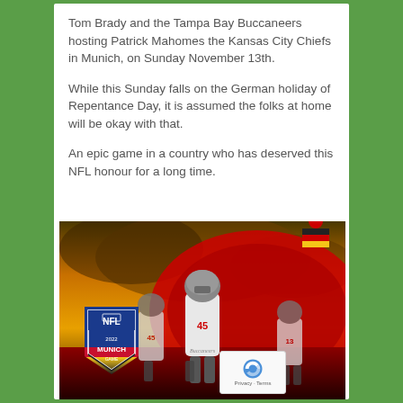Tom Brady and the Tampa Bay Buccaneers hosting Patrick Mahomes the Kansas City Chiefs in Munich, on Sunday November 13th.
While this Sunday falls on the German holiday of Repentance Day, it is assumed the folks at home will be okay with that.
An epic game in a country who has deserved this NFL honour for a long time.
[Figure (photo): NFL Munich Game promotional image showing Tampa Bay Buccaneers players in white uniforms running on a field with a stadium in the background under dramatic orange/yellow sky. NFL Munich Game 2022 shield logo on the left, Buccaneers logo with German flag on the upper right. A reCAPTCHA widget appears in the bottom right corner with 'Privacy - Terms' text.]